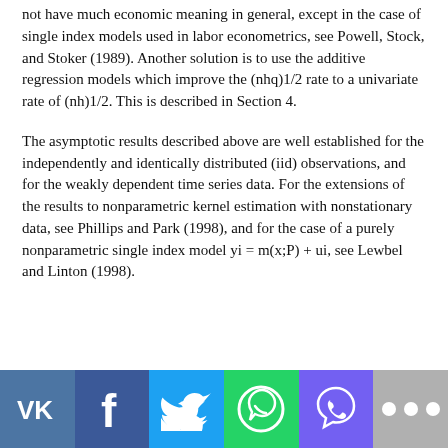not have much economic meaning in general, except in the case of single index models used in labor econometrics, see Powell, Stock, and Stoker (1989). Another solution is to use the additive regression models which improve the (nhq)1/2 rate to a univariate rate of (nh)1/2. This is described in Section 4.
The asymptotic results described above are well established for the independently and identically distributed (iid) observations, and for the weakly dependent time series data. For the extensions of the results to nonparametric kernel estimation with nonstationary data, see Phillips and Park (1998), and for the case of a purely nonparametric single index model yi = m(x;P) + ui, see Lewbel and Linton (1998).
[Figure (infographic): Social sharing bar with icons for VK, Facebook, Twitter, WhatsApp, Viber, and a 'more' button (three dots).]